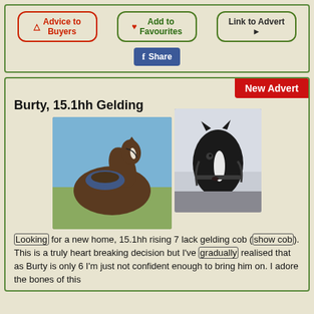[Figure (other): Button bar with three buttons: 'Advice to Buyers' (red border), 'Add to Favourites' (green, with heart icon), 'Link to Advert' (green border, with arrow icon), and a Facebook Share button below]
[Figure (other): New Advert badge (red background) in top-right corner of the main listing area]
Burty, 15.1hh Gelding
[Figure (photo): Photo of a dark brown/black horse with a blue saddle pad and bridle, standing outdoors in a field]
[Figure (photo): Photo of a dark horse's head (black with white blaze) inside a horsebox or stable, close-up side view]
Looking for a new home, 15.1hh rising 7 lack gelding cob (show cob). This is a truly heart breaking decision but I've gradually realised that as Burty is only 6 I'm just not confident enough to bring him on. I adore the bones of this